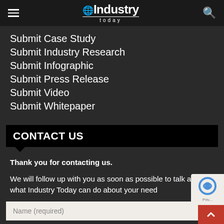Industry Today
Submit Case Study
Submit Industry Research
Submit Infographic
Submit Press Release
Submit Video
Submit Whitepaper
CONTACT US
Thank you for contacting us.
We will follow up with you as soon as possible to talk about what Industry Today can do about your need